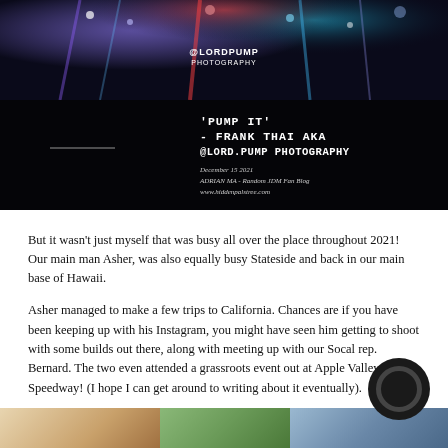[Figure (photo): Dark photography blog cover image with colorful light reflections on wet surface at night, featuring white text overlay. Text reads: 'PUMP IT' - FRANK THAI AKA @LORD.PUMP PHOTOGRAPHY. Also shows: December 15 2021, ADRIAN MA - Random JDM Fan Blog, www.hiddenpalstree.com. Logo '@LORDPUMP PHOTOGRAPHY' at top center.]
But it wasn't just myself that was busy all over the place throughout 2021! Our main man Asher, was also equally busy Stateside and back in our main base of Hawaii.
Asher managed to make a few trips to California. Chances are if you have been keeping up with his Instagram, you might have seen him getting to shoot with some builds out there, along with meeting up with our Socal rep. Bernard. The two even attended a grassroots event out at Apple Valley Speedway! (I hope I can get around to writing about it eventually).
[Figure (photo): Partial bottom strip showing three cropped photos side by side: left shows warm sandy/desert tones, middle shows green foliage, right shows blue automotive/car scene.]